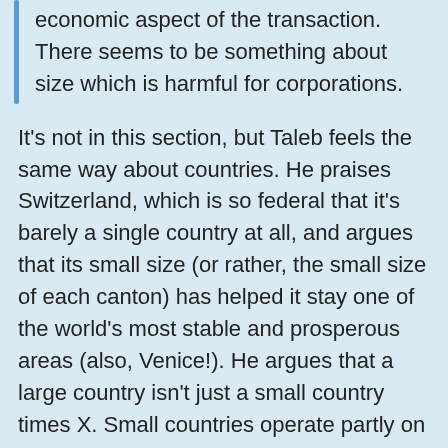economic aspect of the transaction. There seems to be something about size which is harmful for corporations.
It's not in this section, but Taleb feels the same way about countries. He praises Switzerland, which is so federal that it's barely a single country at all, and argues that its small size (or rather, the small size of each canton) has helped it stay one of the world's most stable and prosperous areas (also, Venice!). He argues that a large country isn't just a small country times X. Small countries operate partly on informal bonds of personal relationships; everybody has "skin in the game" regarding decisions. Larger countries don't just multiply everything by a constant, they switch from personal/Near Mode to bureaucratic/Far Mode and get gradually worse as they expand.